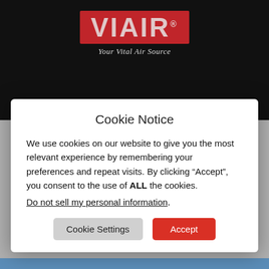[Figure (logo): VIAIR logo with red background and tagline 'Your Vital Air Source']
show in Perris, CA for the majority of the show's twenty year history. Since changing its location to Laughlin, NV last year, the show has gained even more interest due to its location and amenities.
Cookie Notice
We use cookies on our website to give you the most relevant experience by remembering your preferences and repeat visits. By clicking “Accept”, you consent to the use of ALL the cookies.
Do not sell my personal information.
Cookie Settings
Accept